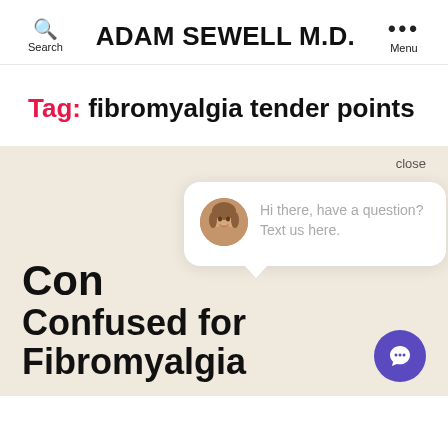ADAM SEWELL M.D.
Tag: fibromyalgia tender points
[Figure (screenshot): Chat widget popup with woman avatar and text: Hi there, have a question? Text us here.]
Confused for Fibromyalgia